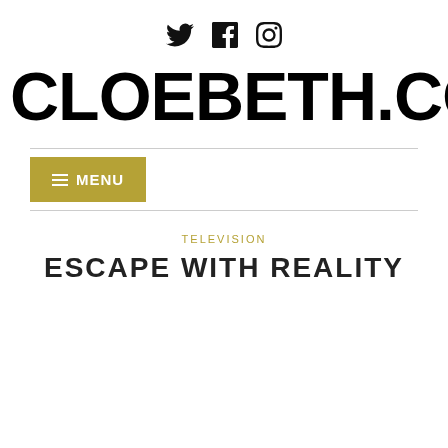[Figure (other): Social media icons: Twitter bird, Facebook 'f', Instagram camera]
CLOEBETH.COM
MENU
TELEVISION
ESCAPE WITH REALITY